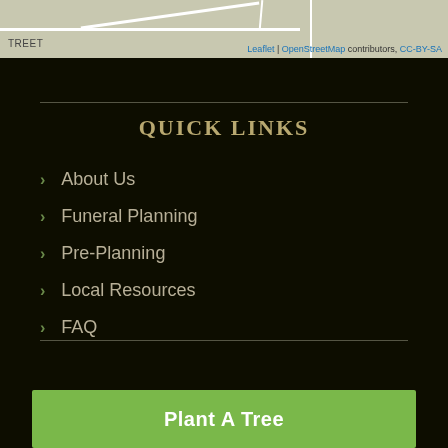[Figure (map): Street map partial view showing road intersections with 'STREET' label visible, with Leaflet/OpenStreetMap attribution]
QUICK LINKS
About Us
Funeral Planning
Pre-Planning
Local Resources
FAQ
Plant A Tree